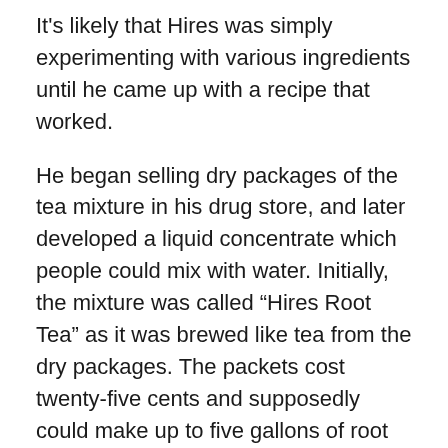It's likely that Hires was simply experimenting with various ingredients until he came up with a recipe that worked.
He began selling dry packages of the tea mixture in his drug store, and later developed a liquid concentrate which people could mix with water. Initially, the mixture was called “Hires Root Tea” as it was brewed like tea from the dry packages. The packets cost twenty-five cents and supposedly could make up to five gallons of root tea.
The “root” in the name of Hires’ concoction came from its main ingredient, the sassafras root. Hires changed the name of his product from “tea” to “beer” sometime before the Philadelphia Centennial Exposition in 1876. It’s likely that he changed the name to make the beverage more appealing to the working class. In the midst of the second wave of the Temperance